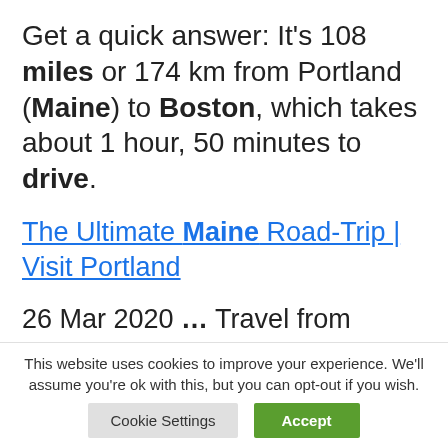Get a quick answer: It's 108 miles or 174 km from Portland (Maine) to Boston, which takes about 1 hour, 50 minutes to drive.
The Ultimate Maine Road-Trip | Visit Portland
26 Mar 2020 ... Travel from Boston to Bar Harbor and experience Maine's rocky shores ... and five from the Maine Mall, if you want to skip to the
This website uses cookies to improve your experience. We'll assume you're ok with this, but you can opt-out if you wish.